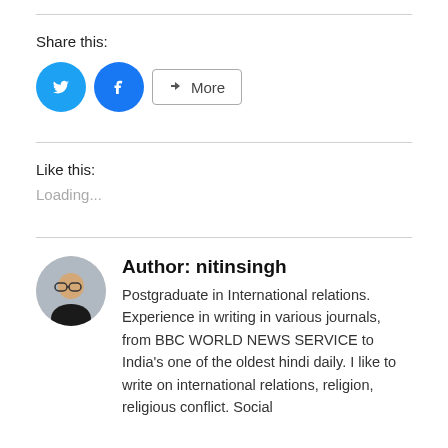Share this:
[Figure (infographic): Social share buttons: Twitter (blue circle with bird icon), Facebook (blue circle with f icon), and a More button with share icon]
Like this:
Loading...
Author: nitinsingh
Postgraduate in International relations. Experience in writing in various journals, from BBC WORLD NEWS SERVICE to India's one of the oldest hindi daily. I like to write on international relations, religion, religious conflict. Social